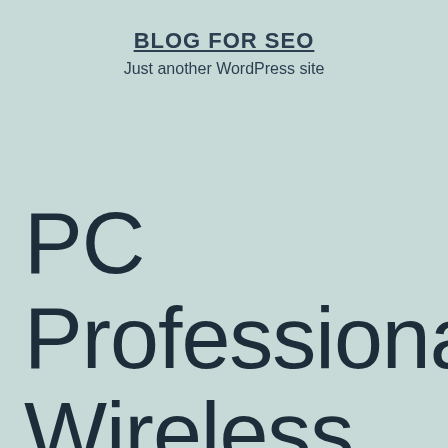BLOG FOR SEO
Just another WordPress site
PC Professional Wireless Network